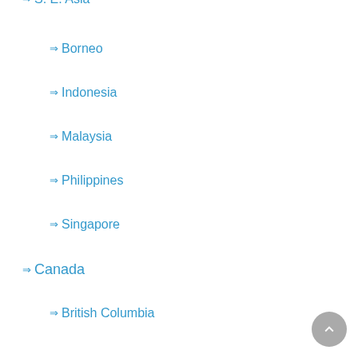S. E. Asia
Borneo
Indonesia
Malaysia
Philippines
Singapore
Canada
British Columbia
Manitoba
Newfoundland
Ontario
Saskatchewan
Carribean
Belize